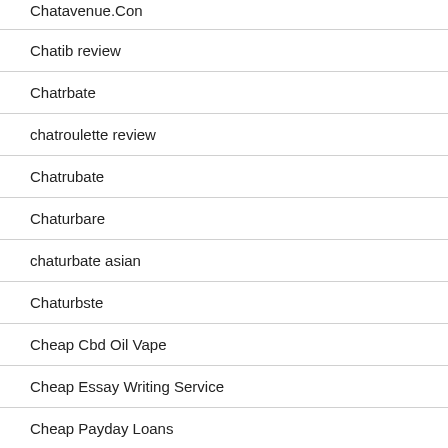Chatavenue.Con
Chatib review
Chatrbate
chatroulette review
Chatrubate
Chaturbare
chaturbate asian
Chaturbste
Cheap Cbd Oil Vape
Cheap Essay Writing Service
Cheap Payday Loans
Chechen Brides